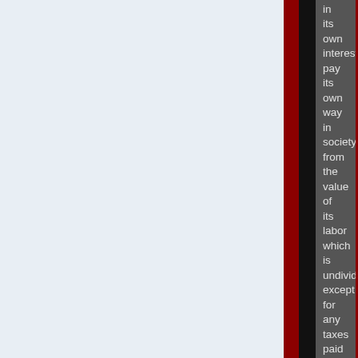in its own interest, pay its own way in society from the value of its labor which is undivided except for any taxes paid